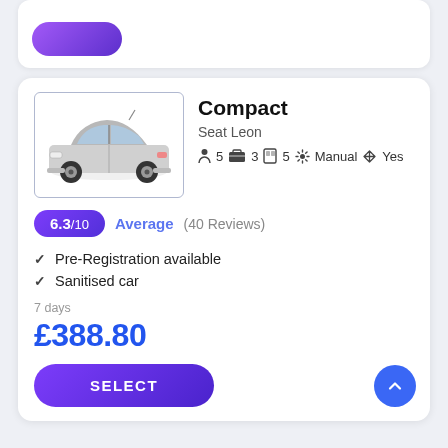[Figure (screenshot): Top card with partial purple rounded button visible]
Compact
Seat Leon
5  3  5  Manual  Yes
6.3/10  Average (40 Reviews)
Pre-Registration available
Sanitised car
7 days
£388.80
SELECT